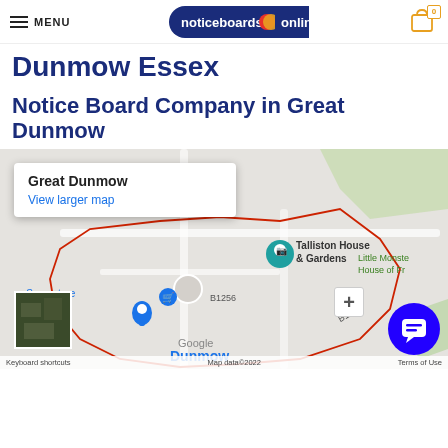MENU | noticeboards online | 0
Dunmow Essex
Notice Board Company in Great Dunmow
[Figure (map): Google Map showing Great Dunmow, Essex area with red boundary outline, location markers for Talliston House & Gardens, a Superstore, road labels B1256 and B1009, and a popup showing 'Great Dunmow / View larger map'. Map footer shows Google branding and 'Keyboard shortcuts  Map data©2022  Terms of Use'.]